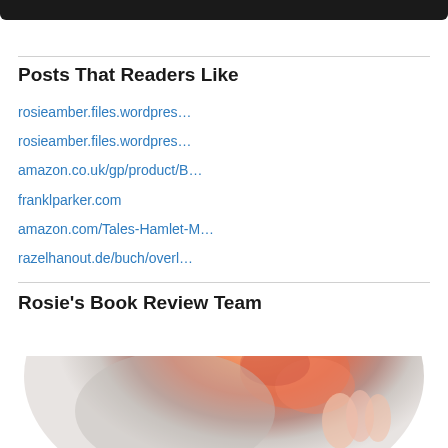[Figure (other): Dark top navigation bar]
Posts That Readers Like
rosieamber.files.wordpres…
rosieamber.files.wordpres…
amazon.co.uk/gp/product/B…
franklparker.com
amazon.com/Tales-Hamlet-M…
razelhanout.de/buch/overl…
Rosie's Book Review Team
[Figure (photo): Circular/oval cropped photo showing a rose and hands, partially visible]